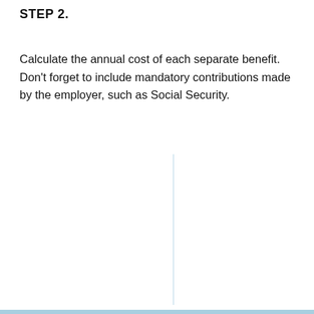STEP 2.
Calculate the annual cost of each separate benefit. Don't forget to include mandatory contributions made by the employer, such as Social Security.